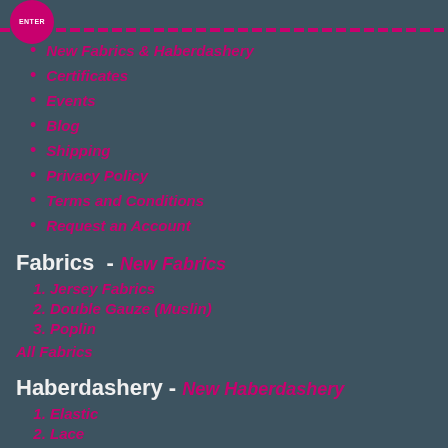Logo / navigation header area
New Fabrics & Haberdashery
Certificates
Events
Blog
Shipping
Privacy Policy
Terms and Conditions
Request an Account
Fabrics - New Fabrics
1. Jersey Fabrics
2. Double Gauze (Muslin)
3. Poplin
All Fabrics
Haberdashery - New Haberdashery
1. Elastic
2. Lace
3. Bias Tape